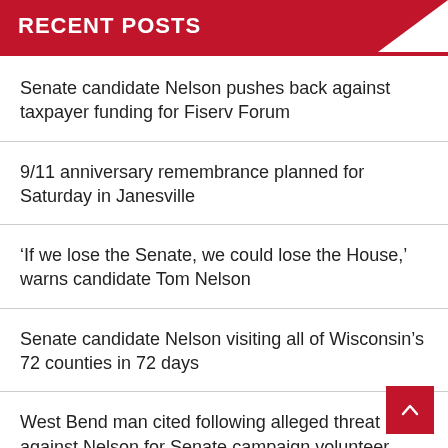RECENT POSTS
Senate candidate Nelson pushes back against taxpayer funding for Fiserv Forum
9/11 anniversary remembrance planned for Saturday in Janesville
‘If we lose the Senate, we could lose the House,’ warns candidate Tom Nelson
Senate candidate Nelson visiting all of Wisconsin’s 72 counties in 72 days
West Bend man cited following alleged threat against Nelson for Senate campaign volunteer